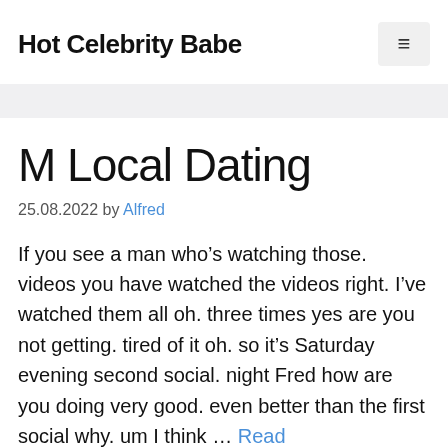Hot Celebrity Babe
M Local Dating
25.08.2022 by Alfred
If you see a man who’s watching those. videos you have watched the videos right. I’ve watched them all oh. three times yes are you not getting. tired of it oh. so it’s Saturday evening second social. night Fred how are you doing very good. even better than the first social why. um I think … Read